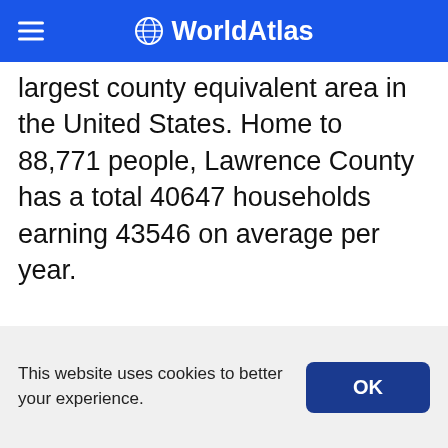WorldAtlas
largest county equivalent area in the United States. Home to 88,771 people, Lawrence County has a total 40647 households earning 43546 on average per year.
— ADVERTISING —
This website uses cookies to better your experience.